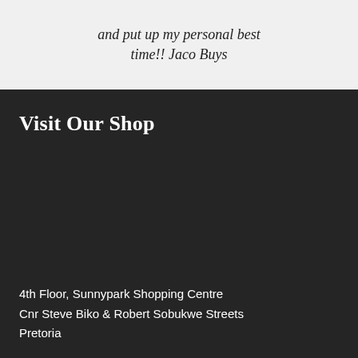and put up my personal best time!! Jaco Buys
Visit Our Shop
4th Floor, Sunnypark Shopping Centre
Cnr Steve Biko & Robert Sobukwe Streets
Pretoria